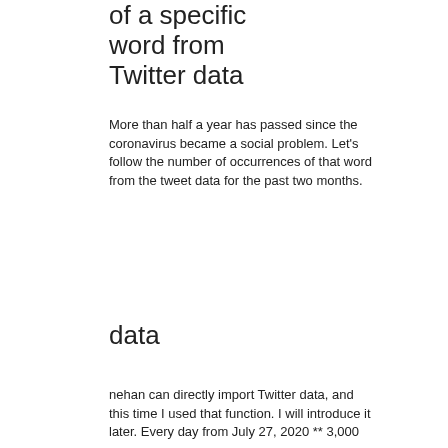of a specific word from Twitter data
More than half a year has passed since the coronavirus became a social problem. Let's follow the number of occurrences of that word from the tweet data for the past two months.
data
nehan can directly import Twitter data, and this time I used that function. I will introduce it later. Every day from July 27, 2020 ** 3,000